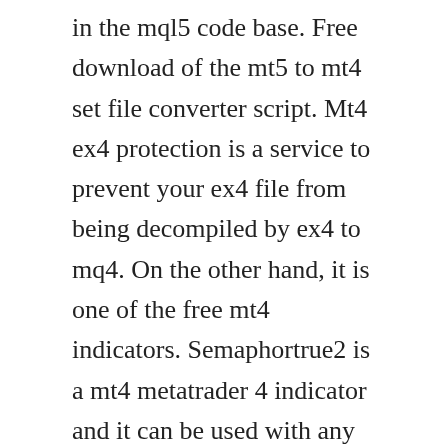in the mql5 code base. Free download of the mt5 to mt4 set file converter script. Mt4 ex4 protection is a service to prevent your ex4 file from being decompiled by ex4 to mq4. On the other hand, it is one of the free mt4 indicators. Semaphortrue2 is a mt4 metatrader 4 indicator and it can be used with any forex trading systems strategies for additional confirmation of trading entries or exits. If you are the owner for this file, please report abuse to 4shared. Ex4 to mq4 decompiler full version downloadinstmank 20190329.